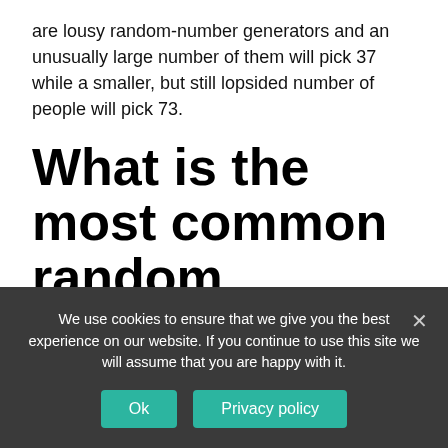are lousy random-number generators and an unusually large number of them will pick 37 while a smaller, but still lopsided number of people will pick 73.
What is the most common random number between 1 and 20?
We use cookies to ensure that we give you the best experience on our website. If you continue to use this site we will assume that you are happy with it.